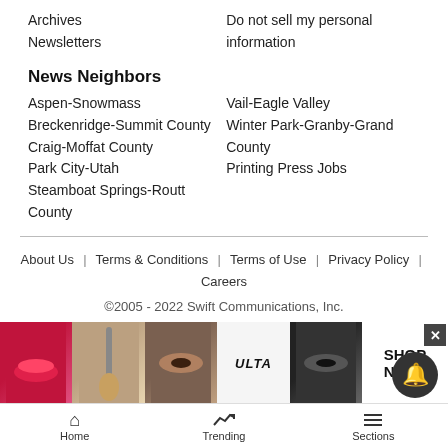Archives
Newsletters
Do not sell my personal information
News Neighbors
Aspen-Snowmass
Vail-Eagle Valley
Breckenridge-Summit County
Winter Park-Granby-Grand County
Craig-Moffat County
Printing Press Jobs
Park City-Utah
Steamboat Springs-Routt County
About Us  |  Terms & Conditions  |  Terms of Use  |  Privacy Policy  |  Careers
©2005 - 2022 Swift Communications, Inc.
[Figure (screenshot): ULTA beauty advertisement banner with makeup images and SHOP NOW text]
Home   Trending   Sections